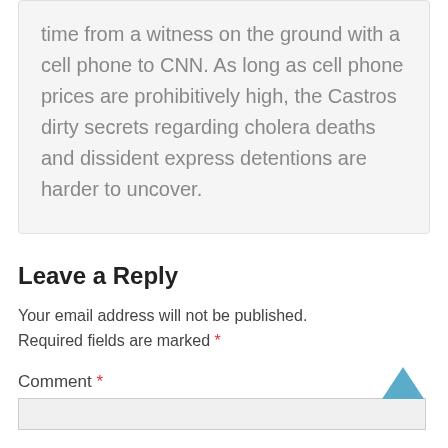time from a witness on the ground with a cell phone to CNN. As long as cell phone prices are prohibitively high, the Castros dirty secrets regarding cholera deaths and dissident express detentions are harder to uncover.
Leave a Reply
Your email address will not be published. Required fields are marked *
Comment *